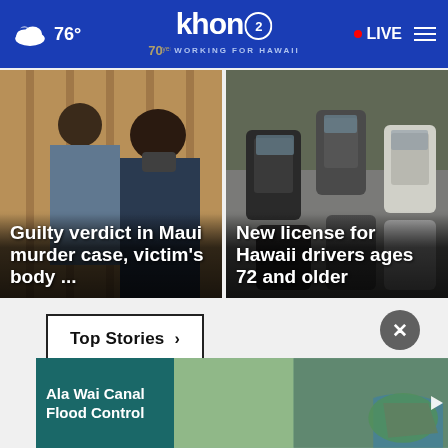76° khon2 WORKING FOR HAWAII • LIVE
[Figure (screenshot): News card: Two men in suits with masks — Guilty verdict in Maui murder case, victim's body ...]
[Figure (screenshot): News card: Aerial view of cars in traffic — New license for Hawaii drivers ages 72 and older]
Top Stories ›
[Figure (screenshot): Advertisement banner: Ala Wai Canal Flood Control with aerial map image]